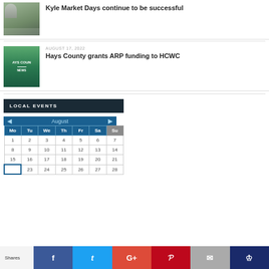[Figure (photo): Thumbnail photo of person speaking into microphone outdoors]
Kyle Market Days continue to be successful
[Figure (photo): Hays County News thumbnail with aerial/nature background]
AUGUST 17, 2022
Hays County grants ARP funding to HCWC
LOCAL EVENTS
[Figure (other): August calendar widget showing dates 1-28, with navigation arrows]
Shares